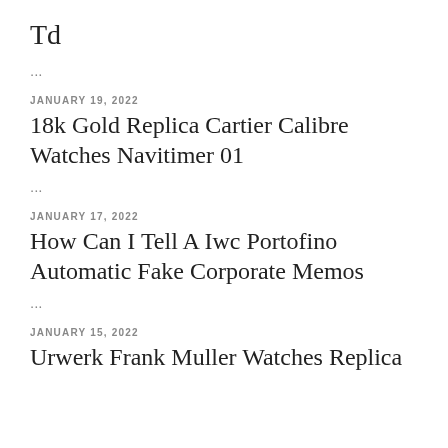Td
...
JANUARY 19, 2022
18k Gold Replica Cartier Calibre Watches Navitimer 01
...
JANUARY 17, 2022
How Can I Tell A Iwc Portofino Automatic Fake Corporate Memos
...
JANUARY 15, 2022
Urwerk Frank Muller Watches Replica